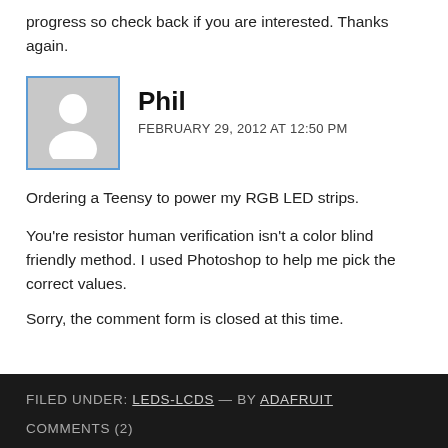progress so check back if you are interested. Thanks again.
[Figure (illustration): Default user avatar: grey square with white silhouette of a person (head and shoulders)]
Phil
FEBRUARY 29, 2012 AT 12:50 PM
Ordering a Teensy to power my RGB LED strips.
You're resistor human verification isn't a color blind friendly method. I used Photoshop to help me pick the correct values.
Sorry, the comment form is closed at this time.
FILED UNDER: LEDS-LCDS — BY ADAFRUIT
COMMENTS (2)